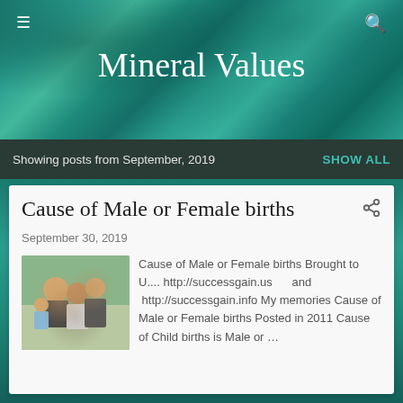[Figure (screenshot): Blog website header with teal water/ocean aerial background image]
Mineral Values
Showing posts from September, 2019
SHOW ALL
Cause of Male or Female births
September 30, 2019
[Figure (photo): Family photo showing adults and children smiling together outdoors]
Cause of Male or Female births Brought to U.... http://successgain.us      and  http://successgain.info My memories Cause of Male or Female births Posted in 2011 Cause of Child births is Male or ...